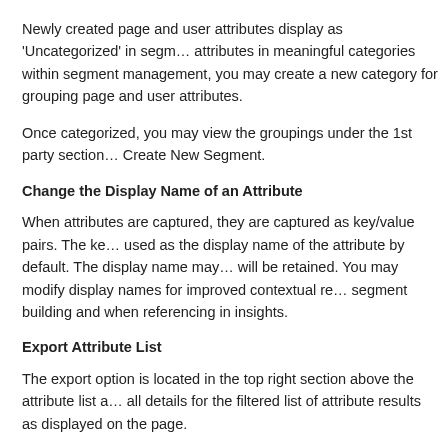Newly created page and user attributes display as 'Uncategorized' in segment management. To organize attributes in meaningful categories within segment management, you may create a new category for grouping page and user attributes.
Once categorized, you may view the groupings under the 1st party section when using Create New Segment.
Change the Display Name of an Attribute
When attributes are captured, they are captured as key/value pairs. The key will be used as the display name of the attribute by default. The display name may be changed and will be retained. You may modify display names for improved contextual relevance when segment building and when referencing in insights.
Export Attribute List
The export option is located in the top right section above the attribute list and will export all details for the filtered list of attribute results as displayed on the page.
Permissions and Access Levels